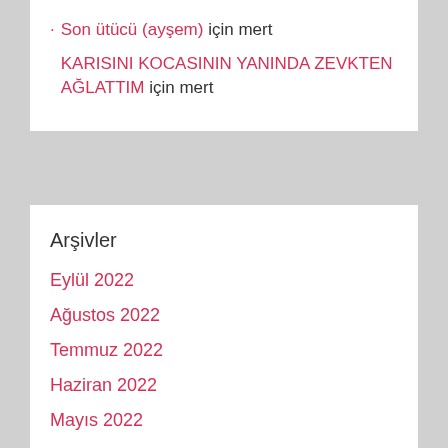Son ütücü (ayşem) için mert
KARISINI KOCASININ YANINDA ZEVKTEN AĞLATTIM için mert
Arşivler
Eylül 2022
Ağustos 2022
Temmuz 2022
Haziran 2022
Mayıs 2022
Nisan 2022
Mart 2022